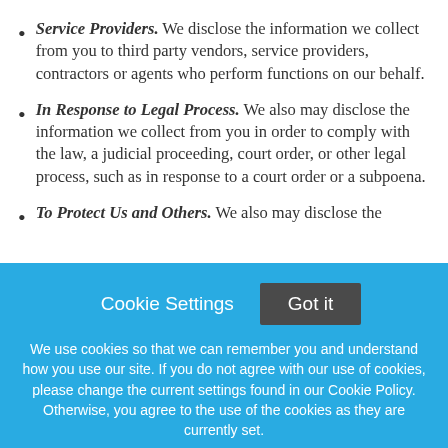Service Providers. We disclose the information we collect from you to third party vendors, service providers, contractors or agents who perform functions on our behalf.
In Response to Legal Process. We also may disclose the information we collect from you in order to comply with the law, a judicial proceeding, court order, or other legal process, such as in response to a court order or a subpoena.
To Protect Us and Others. We also may disclose the information we collect from you...
Cookie Settings   Got it
We use cookies so that we can remember you and understand how you use our site. If you do not agree with our use of cookies, please change the current settings found in our Cookie Policy. Otherwise, you agree to the use of the cookies as they are currently set.